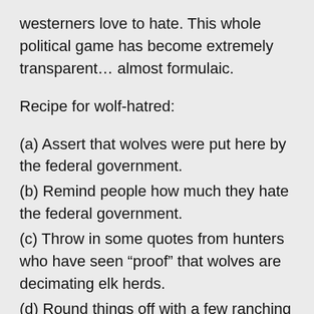westerners love to hate. This whole political game has become extremely transparent… almost formulaic.
Recipe for wolf-hatred:
(a) Assert that wolves were put here by the federal government.
(b) Remind people how much they hate the federal government.
(c) Throw in some quotes from hunters who have seen “proof” that wolves are decimating elk herds.
(d) Round things off with a few ranching families who don’t know if they can make it much longer.
(e) Top it all off with some innuendo about